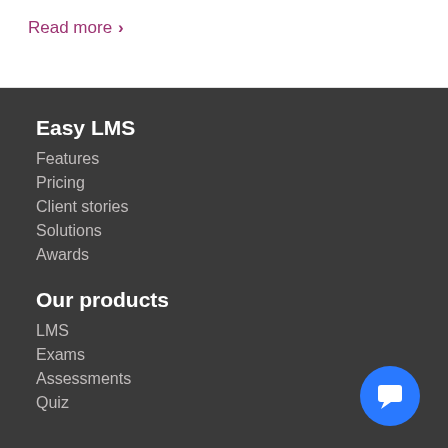Read more >
Easy LMS
Features
Pricing
Client stories
Solutions
Awards
Our products
LMS
Exams
Assessments
Quiz
[Figure (illustration): Blue circular chat/feedback button with a white speech bubble icon]